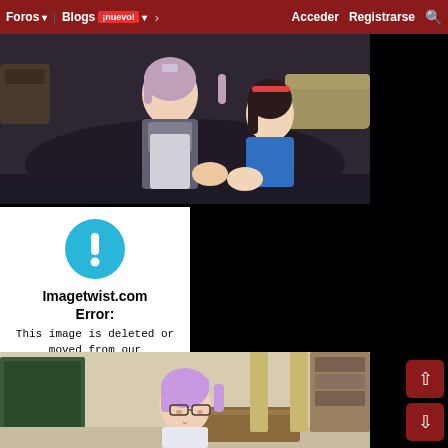Foros | Blogs ¡nuevo! | > | Acceder | Registrarse | 🔍
[Figure (screenshot): 3D anime-style VR scene showing two female characters, one in a maid outfit and one in a blue top, in an interior room setting]
[Figure (infographic): Imagetwist.com error message: blue exclamation circle icon with text 'Imagetwist.com Error: This image is deleted or moved from our servers.']
[Figure (screenshot): 3D anime-style VR scene showing a female character with purple hair and glasses wearing a white shirt, in a classroom setting with chalkboard and bookshelves]